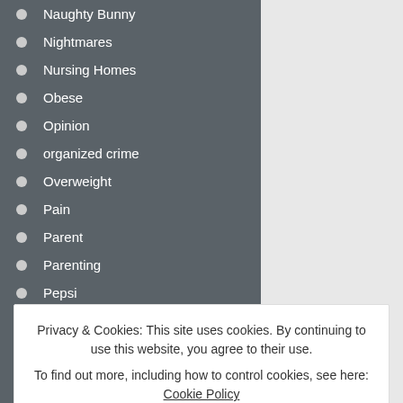Naughty Bunny
Nightmares
Nursing Homes
Obese
Opinion
organized crime
Overweight
Pain
Parent
Parenting
Pepsi
Personal
Personality Disorder
Philosophy
Poems
I am thirty-one years knowledge on an arr education. I am sure ongoing series called of myself. I would rec
Privacy & Cookies: This site uses cookies. By continuing to use this website, you agree to their use.
To find out more, including how to control cookies, see here: Cookie Policy
Close and accept